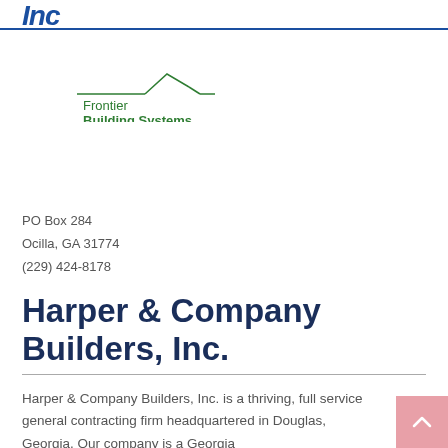Inc
[Figure (logo): Frontier Building Systems logo — a house outline with a slanted roof line above the text 'Frontier Building Systems' in green]
PO Box 284
Ocilla, GA 31774
(229) 424-8178
Harper & Company Builders, Inc.
Harper & Company Builders, Inc. is a thriving, full service general contracting firm headquartered in Douglas, Georgia. Our company is a Georgia